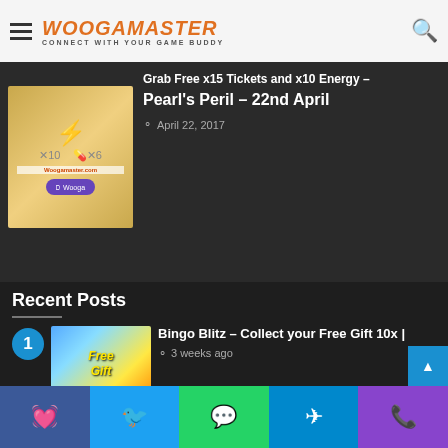WOOGAMASTER — CONNECT WITH YOUR GAME BUDDY
Grab Free x15 Tickets and x10 Energy – Pearl's Peril – 22nd April
April 22, 2017
Recent Posts
1. Bingo Blitz – Collect your Free Gift 10x | — 3 weeks ago
2. Bingo Blitz – Collect your Free Gift | 9th August 2023 | Latest